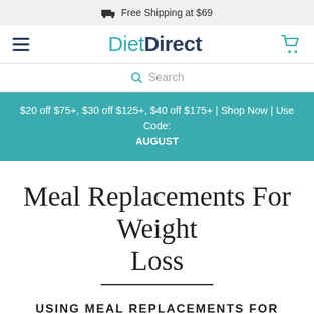Free Shipping at $69
[Figure (logo): DietDirect logo with hamburger menu icon on left and shopping cart icon on right]
Search
$20 off $75+, $30 off $125+, $40 off $175+ | Shop Now | Use Code: AUGUST
Meal Replacements For Weight Loss
USING MEAL REPLACEMENTS FOR